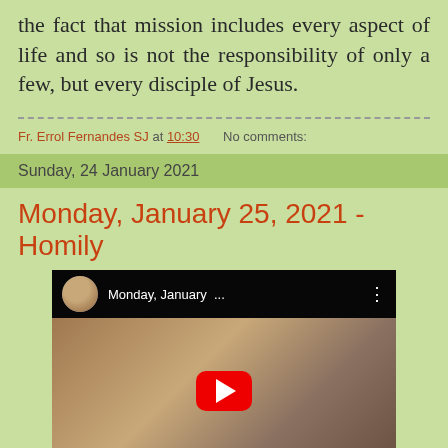the fact that mission includes every aspect of life and so is not the responsibility of only a few, but every disciple of Jesus.
Fr. Errol Fernandes SJ at 10:30    No comments:
Sunday, 24 January 2021
Monday, January 25, 2021 - Homily
[Figure (screenshot): YouTube video thumbnail showing a priest giving a homily, with overlay title 'Monday, January ...' and a red play button in the center.]